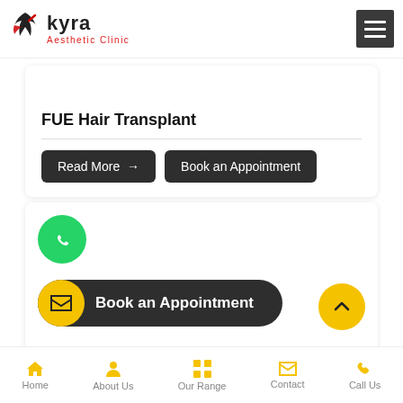Kyra Aesthetic Clinic
FUE Hair Transplant
Read More →
Book an Appointment
[Figure (logo): WhatsApp green circle button]
Book an Appointment
[Figure (other): Yellow up-arrow circular button]
Home | About Us | Our Range | Contact | Call Us